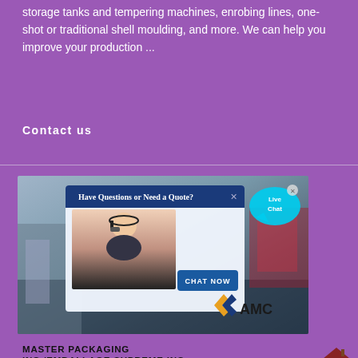storage tanks and tempering machines, enrobing lines, one-shot or traditional shell moulding, and more. We can help you improve your production ...
Contact us
[Figure (screenshot): Advertisement popup showing a woman with headset and 'Have Questions or Need a Quote?' header with CHAT NOW button, AMC logo, and Live Chat bubble]
MASTER PACKAGING INC./EMBALLAGE SUPREME INC ...
MASTER PACKAGING INC./EMBALLAGE SUPREME INC is a